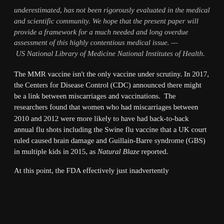underestimated, has not been rigorously evaluated in the medical and scientific community. We hope that the present paper will provide a framework for a much needed and long overdue assessment of this highly contentious medical issue. — US National Library of Medicine National Institutes of Health.
The MMR vaccine isn't the only vaccine under scrutiny. In 2017, the Centers for Disease Control (CDC) announced there might be a link between miscarriages and vaccinations. The researchers found that women who had miscarriages between 2010 and 2012 were more likely to have had back-to-back annual flu shots including the Swine flu vaccine that a UK court ruled caused brain damage and Guillain-Barre syndrome (GBS) in multiple kids in 2015, as Natural Blaze reported.
At this point, the FDA effectively just inadvertently